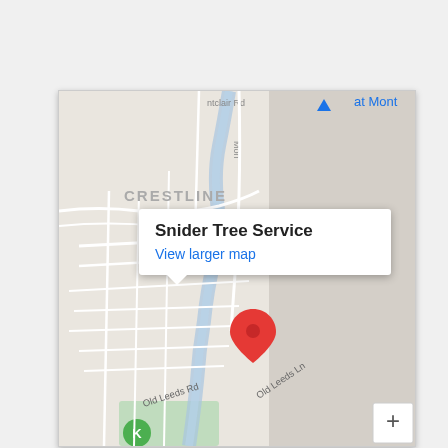[Figure (map): Google Maps screenshot showing Crestline area with streets, roads labeled 'Old Leeds Rd' and 'Old Leeds Ln', a blue waterway, green park areas, and a red location pin marker for Snider Tree Service. The right portion of the map shows an unloaded grey area. An info popup shows 'Snider Tree Service' and 'View larger map'. A blue navigation triangle and 'at Mont' text appear at the top. A zoom-in (+) button appears at the bottom right.]